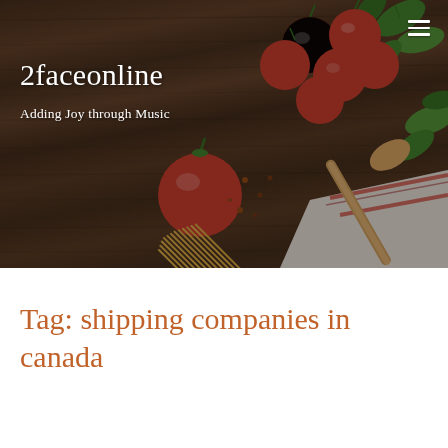[Figure (photo): Header banner showing food items on a dark wooden table: cherry tomatoes on vine, fresh basil leaves, dry spaghetti pasta, a wooden spoon, and a linen cloth with red stripes. Site logo and tagline overlaid on the left side.]
2faceonline
Adding Joy through Music
Tag: shipping companies in canada